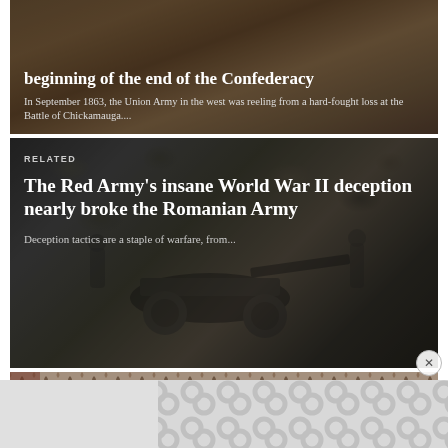[Figure (photo): Historical battle painting background with brownish-orange tones showing Civil War battle scene, partially visible at top]
beginning of the end of the Confederacy
In September 1863, the Union Army in the west was reeling from a hard-fought loss at the Battle of Chickamauga....
[Figure (photo): Black and white World War II photograph showing military equipment, artillery, and soldiers among foliage]
RELATED
The Red Army's insane World War II deception nearly broke the Romanian Army
Deception tactics are a staple of warfare, from...
[Figure (photo): Photograph of ancient mosaic tile floor with repeated geometric/floral pattern in terracotta and cream colors]
RELATED